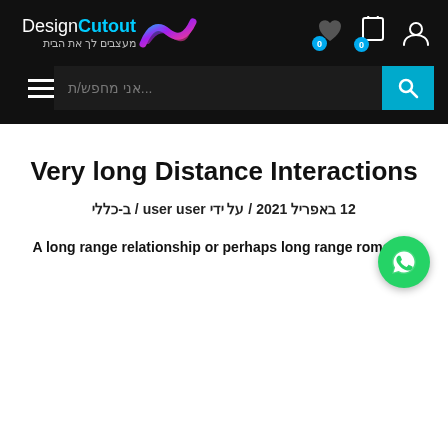Cutout Design — מעצבים לך את הבית — Website header with icons and search bar
Very long Distance Interactions
12 באפריל 2021 / על ידי user user / ב-כללי
A long range relationship or perhaps long range romantic